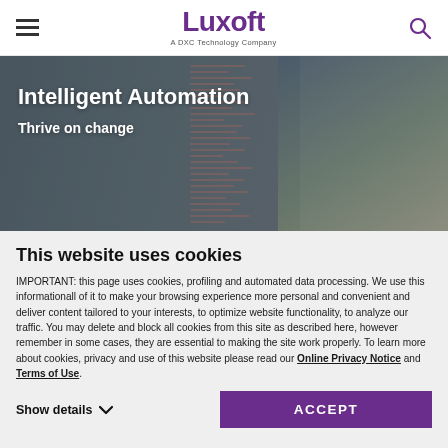Luxoft — A DXC Technology Company
[Figure (photo): Hero banner image showing Intelligent Automation with blurred background of code/text display and a person in background. Text overlay reads 'Intelligent Automation' and 'Thrive on change'.]
Intelligent Automation
Thrive on change
This website uses cookies
IMPORTANT: this page uses cookies, profiling and automated data processing. We use this informationall of it to make your browsing experience more personal and convenient and deliver content tailored to your interests, to optimize website functionality, to analyze our traffic. You may delete and block all cookies from this site as described here, however remember in some cases, they are essential to making the site work properly. To learn more about cookies, privacy and use of this website please read our Online Privacy Notice and Terms of Use.
Show details
ACCEPT